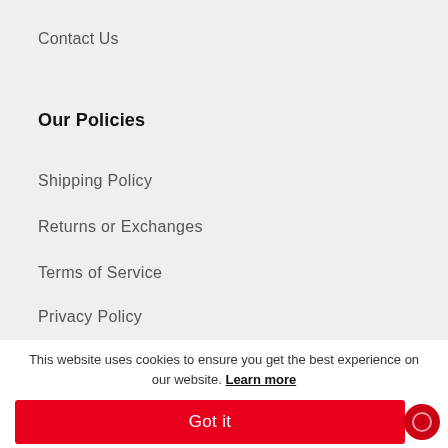Contact Us
Our Policies
Shipping Policy
Returns or Exchanges
Terms of Service
Privacy Policy
This website uses cookies to ensure you get the best experience on our website. Learn more
Got it